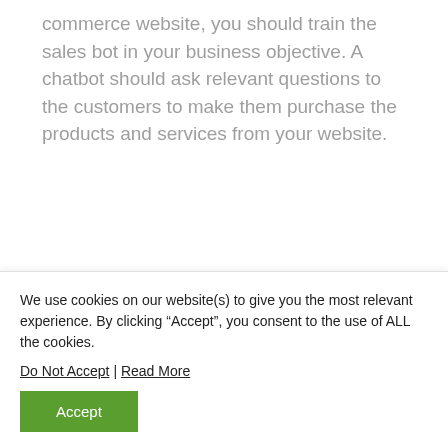commerce website, you should train the sales bot in your business objective. A chatbot should ask relevant questions to the customers to make them purchase the products and services from your website.
E-commerce website owners use AI chatbots to increase B2B(Business to Business), B2C(Business to Customers), and C2C(Customers to Customers) businesses. AI
We use cookies on our website(s) to give you the most relevant experience. By clicking “Accept”, you consent to the use of ALL the cookies.
Do Not Accept | Read More
Accept